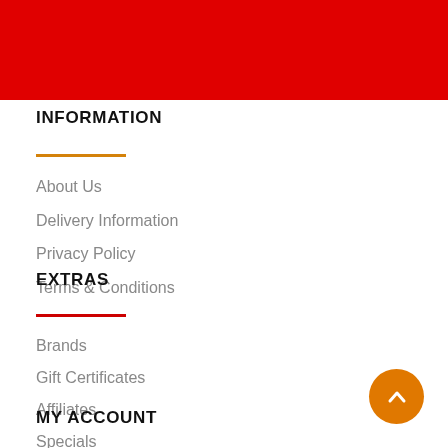INFORMATION
About Us
Delivery Information
Privacy Policy
Terms & Conditions
EXTRAS
Brands
Gift Certificates
Affiliates
Specials
MY ACCOUNT